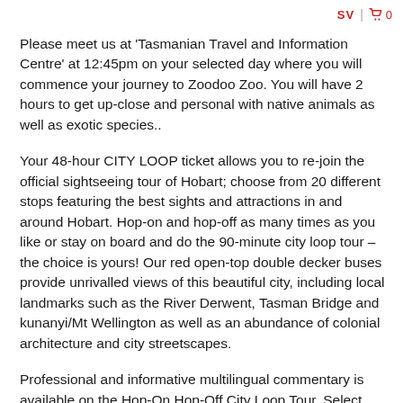SV | 🛒 0
Please meet us at 'Tasmanian Travel and Information Centre' at 12:45pm on your selected day where you will commence your journey to Zoodoo Zoo. You will have 2 hours to get up-close and personal with native animals as well as exotic species..
Your 48-hour CITY LOOP ticket allows you to re-join the official sightseeing tour of Hobart; choose from 20 different stops featuring the best sights and attractions in and around Hobart. Hop-on and hop-off as many times as you like or stay on board and do the 90-minute city loop tour – the choice is yours! Our red open-top double decker buses provide unrivalled views of this beautiful city, including local landmarks such as the River Derwent, Tasman Bridge and kunanyi/Mt Wellington as well as an abundance of colonial architecture and city streetscapes.
Professional and informative multilingual commentary is available on the Hop-On Hop-Off City Loop Tour. Select English, French, German, Italian, Japanese, Korean, Mandarin or Spanish.